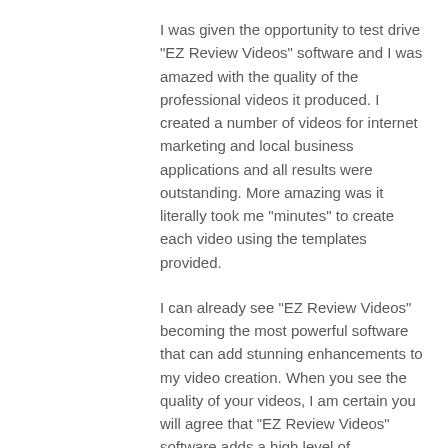I was given the opportunity to test drive "EZ Review Videos" software and I was amazed with the quality of the professional videos it produced. I created a number of videos for internet marketing and local business applications and all results were outstanding. More amazing was it literally took me "minutes" to create each video using the templates provided.
I can already see "EZ Review Videos" becoming the most powerful software that can add stunning enhancements to my video creation. When you see the quality of your videos, I am certain you will agree that "EZ Review Videos" software adds a high level of CREDABILITY to your videos possible today. I experienced it myself.
I highly recommend getting your copy of "EZ